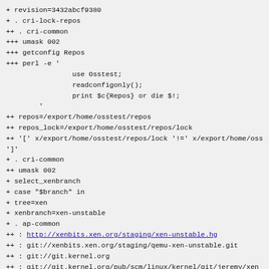+ revision=3432abcf9380
+ . cri-lock-repos
++ . cri-common
+++ umask 002
+++ getconfig Repos
+++ perl -e '
                use Osstest;
                readconfigonly();
                print $c{Repos} or die $!;
        '
++ repos=/export/home/osstest/repos
++ repos_lock=/export/home/osstest/repos/lock
++ '[' x/export/home/osstest/repos/lock '!=' x/export/home/oss
']'
+ . cri-common
++ umask 002
+ select_xenbranch
+ case "$branch" in
+ tree=xen
+ xenbranch=xen-unstable
+ . ap-common
++ : http://xenbits.xen.org/staging/xen-unstable.hg
++ : git://xenbits.xen.org/staging/qemu-xen-unstable.git
++ : git://git.kernel.org
++ : git://git.kernel.org/pub/scm/linux/kernel/git/jeremy/xen